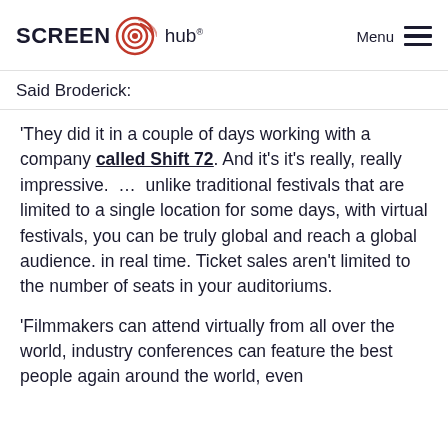SCREEN hub Menu
Said Broderick:
'They did it in a couple of days working with a company called Shift 72. And it's it's really, really impressive.  …  unlike traditional festivals that are limited to a single location for some days, with virtual festivals, you can be truly global and reach a global audience. in real time. Ticket sales aren't limited to the number of seats in your auditoriums.
'Filmmakers can attend virtually from all over the world, industry conferences can feature the best people again around the world, even